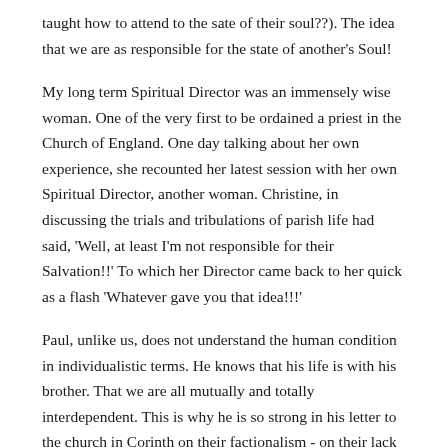taught how to attend to the sate of their soul??). The idea that we are as responsible for the state of another's Soul!
My long term Spiritual Director was an immensely wise woman. One of the very first to be ordained a priest in the Church of England. One day talking about her own experience, she recounted her latest session with her own Spiritual Director, another woman. Christine, in discussing the trials and tribulations of parish life had said, 'Well, at least I'm not responsible for their Salvation!!' To which her Director came back to her quick as a flash 'Whatever gave you that idea!!!'
Paul, unlike us, does not understand the human condition in individualistic terms. He knows that his life is with his brother. That we are all mutually and totally interdependent. This is why he is so strong in his letter to the church in Corinth on their factionalism - on their lack of sacrificial love for one another – their lack of concern for one another that they will happily make sure they are well fed and take